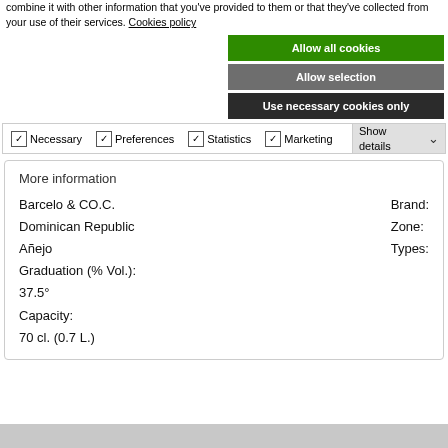combine it with other information that you've provided to them or that they've collected from your use of their services. Cookies policy
Allow all cookies
Allow selection
Use necessary cookies only
✓ Necessary  ✓ Preferences  ✓ Statistics  ✓ Marketing  Show details
More information
Barcelo & CO.C.
Brand:
Dominican Republic
Zone:
Añejo
Types:
Graduation (% Vol.):
37.5°
Capacity:
70 cl. (0.7 L.)